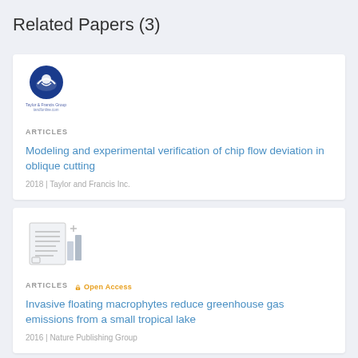Related Papers (3)
[Figure (logo): Taylor and Francis Group / tandfonline.com logo with blue circle icon]
ARTICLES
Modeling and experimental verification of chip flow deviation in oblique cutting
2018 | Taylor and Francis Inc.
[Figure (illustration): Generic document/article icon with lines and plus symbol]
ARTICLES  Open Access
Invasive floating macrophytes reduce greenhouse gas emissions from a small tropical lake
2016 | Nature Publishing Group